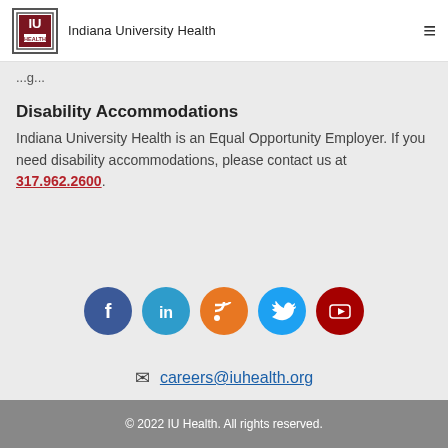Indiana University Health
...g...
Disability Accommodations
Indiana University Health is an Equal Opportunity Employer. If you need disability accommodations, please contact us at 317.962.2600.
[Figure (infographic): Row of five social media icons: Facebook (dark blue), LinkedIn (blue), RSS (orange), Twitter (light blue), YouTube (dark red)]
careers@iuhealth.org
© 2022 IU Health. All rights reserved.